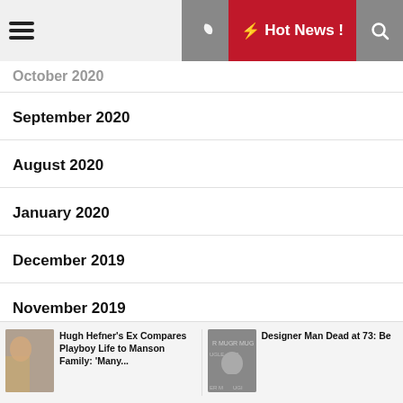☰  🌙  ⚡ Hot News !  🔍
October 2020 (partial, top)
September 2020
August 2020
January 2020
December 2019
November 2019
October 2019
September 2019 (partial, bottom)
Hugh Hefner's Ex Compares Playboy Life to Manson Family: 'Many...
Designer Man Dead at 73: Be